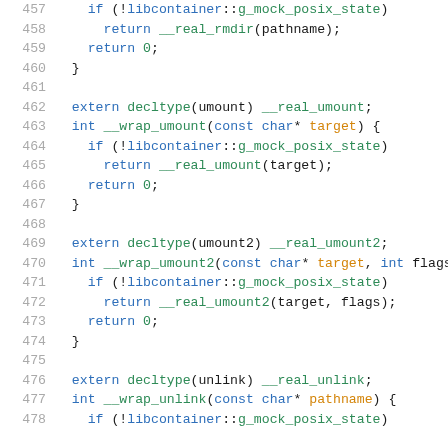Code listing lines 457-478: C++ source code showing wrap functions for rmdir, umount, umount2, and unlink system calls using libcontainer mock posix state.